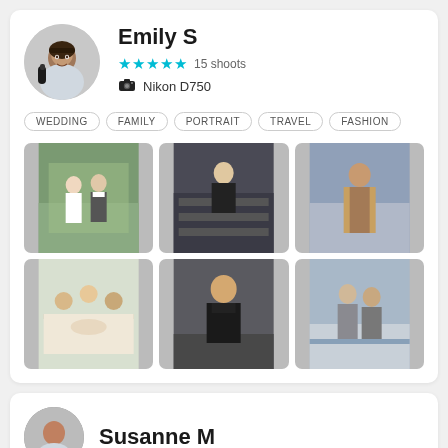Emily S
★★★★★ 15 shoots
📷 Nikon D750
WEDDING
FAMILY
PORTRAIT
TRAVEL
FASHION
[Figure (photo): 6 portfolio photos in a 3x2 grid: wedding couple, man on stairs, woman in tan coat, family dining, man in black coat, couple by waterfront]
Susanne M